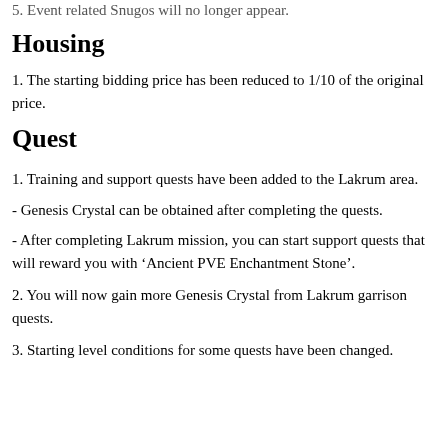5. Event related Snugos will no longer appear.
Housing
1. The starting bidding price has been reduced to 1/10 of the original price.
Quest
1. Training and support quests have been added to the Lakrum area.
- Genesis Crystal can be obtained after completing the quests.
- After completing Lakrum mission, you can start support quests that will reward you with ‘Ancient PVE Enchantment Stone’.
2. You will now gain more Genesis Crystal from Lakrum garrison quests.
3. Starting level conditions for some quests have been changed.